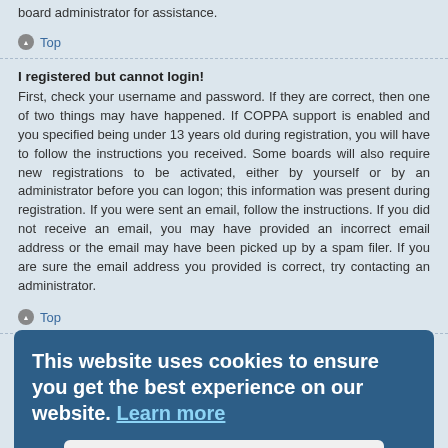board administrator for assistance.
Top
I registered but cannot login!
First, check your username and password. If they are correct, then one of two things may have happened. If COPPA support is enabled and you specified being under 13 years old during registration, you will have to follow the instructions you received. Some boards will also require new registrations to be activated, either by yourself or by an administrator before you can logon; this information was present during registration. If you were sent an email, follow the instructions. If you did not receive an email, you may have provided an incorrect email address or the email may have been picked up by a spam filer. If you are sure the email address you provided is correct, try contacting an administrator.
Top
Why can't I login?
There are several reasons why this could occur. First, ensure your username and password are correct. If they are, contact a board administrator to make sure you haven't been banned. It is also possible the website owner has a configuration error on their end, and they would need to fix it.
Top
This website uses cookies to ensure you get the best experience on our website. Learn more
Got it!
I registered in the past but cannot login any more?!